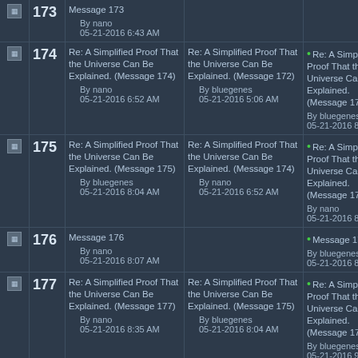| Icon | # | Message | Reply 1 | Reply 2 |
| --- | --- | --- | --- | --- |
| icon | 173 | Message 173
By nano
05-21-2016 6:43 AM |  |  |
| icon | 174 | Re: A Simplified Proof That the Universe Can Be Explained. (Message 174)
By nano
05-21-2016 6:52 AM | Re: A Simplified Proof That the Universe Can Be Explained. (Message 172)
By bluegenes
05-21-2016 5:06 AM | • Re: A Simplified Proof That the Universe Can Be Explained. (Message 175)
By bluegenes
05-21-2016 8:04 A |
| icon | 175 | Re: A Simplified Proof That the Universe Can Be Explained. (Message 175)
By bluegenes
05-21-2016 8:04 AM | Re: A Simplified Proof That the Universe Can Be Explained. (Message 174)
By nano
05-21-2016 6:52 AM | • Re: A Simplified Proof That the Universe Can Be Explained. (Message 177)
By nano
05-21-2016 8:35 A |
| icon | 176 | Message 176
By nano
05-21-2016 8:07 AM |  | • Message 178
By bluegenes
05-21-2016 8:59 A |
| icon | 177 | Re: A Simplified Proof That the Universe Can Be Explained. (Message 177)
By nano
05-21-2016 8:35 AM | Re: A Simplified Proof That the Universe Can Be Explained. (Message 175)
By bluegenes
05-21-2016 8:04 AM | • Re: A Simplified Proof That the Universe Can Be Explained. (Message 179)
By bluegenes
05-21-2016 9:12 A |
| icon | 178 | Message 178
By bluegenes
05-21-2016 8:59 AM | Message 176
By nano
05-21-2016 8:07 AM | •Message 180
By nano
05-21-2016 12:46 P |
| icon | 179 | Re: A Simplified Proof That the Universe Can | Re: A Simplified Proof That the Universe Can | •Re: A Simplified Pro |